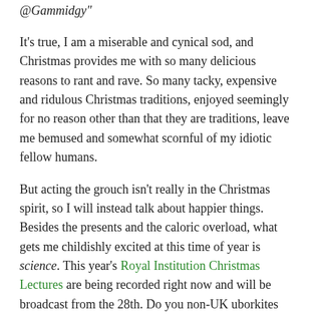@Gammidgy"
It's true, I am a miserable and cynical sod, and Christmas provides me with so many delicious reasons to rant and rave. So many tacky, expensive and ridulous Christmas traditions, enjoyed seemingly for no reason other than that they are traditions, leave me bemused and somewhat scornful of my idiotic fellow humans.
But acting the grouch isn't really in the Christmas spirit, so I will instead talk about happier things. Besides the presents and the caloric overload, what gets me childishly excited at this time of year is science. This year's Royal Institution Christmas Lectures are being recorded right now and will be broadcast from the 28th. Do you non-UK uborkites get them? Do we export that with the same fanfare as Doctor Who and Downton? We bloody should.
I've always been a science geek. It's a thing that my family have long indulged and my old friends politely tolerated. As is the way with the internet, in the last few years I've been able to find enough people like me that I